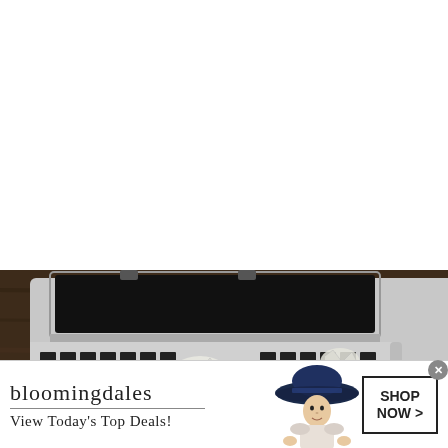[Figure (photo): Top-down view of a laptop computer on a dark wood surface, with crumpled paper on the keyboard and a cable on the right side. The laptop screen is black and the keyboard is visible.]
[Figure (photo): Bloomingdales advertisement banner. Left side shows the Bloomingdales logo text and tagline 'View Today's Top Deals!'. Center shows a woman wearing a large brimmed navy hat. Right side shows a bordered box with text 'SHOP NOW >']